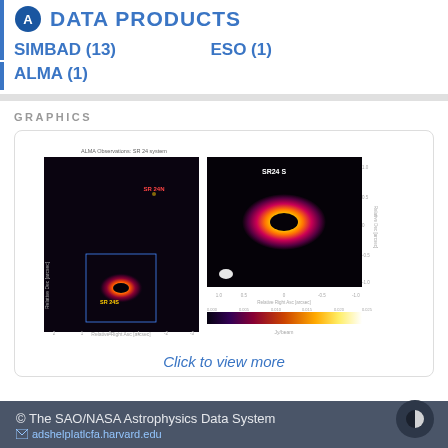DATA PRODUCTS
SIMBAD (13)
ESO (1)
ALMA (1)
GRAPHICS
[Figure (photo): Astronomical observation images showing SR 24N and SR 24S binary star system with protoplanetary disks, color-coded ALMA continuum emission maps with color bar in Jy/beam]
Click to view more
© The SAO/NASA Astrophysics Data System
adshelpIatlcfa.harvard.edu